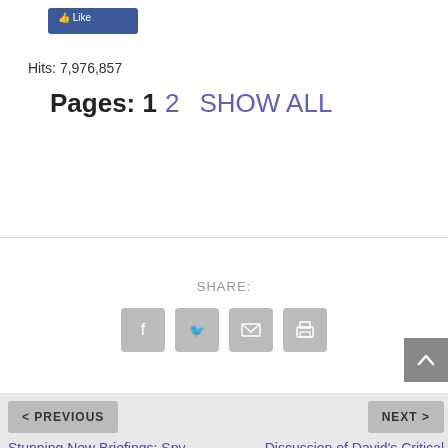[Figure (other): Facebook like/share button (blue)]
Hits: 7,976,857
Pages: 1  2   SHOW ALL
SHARE:
[Figure (other): Social share icons: Facebook, Twitter, Email, Print]
< PREVIOUS
NEXT >
Stunning New Briefings: Spy Satellites Down, Deep State Arrests Finally Imminent?
Discussion of David's Critical New Disclosure Film — #1 Documentary